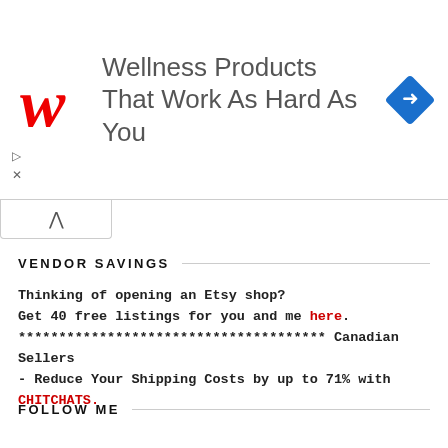[Figure (logo): Walgreens advertisement banner with red cursive W logo and text 'Wellness Products That Work As Hard As You', with a blue diamond navigation icon on the right]
▷
✕
VENDOR SAVINGS
Thinking of opening an Etsy shop?
Get 40 free listings for you and me here.
************************************** Canadian Sellers - Reduce Your Shipping Costs by up to 71% with CHITCHATS.
FOLLOW ME